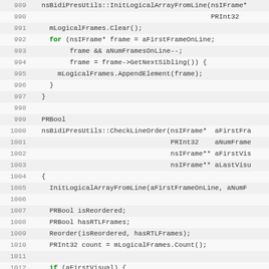[Figure (screenshot): Source code listing in monospace font showing C++ code lines 989-1020, with line numbers on the left, alternating row background colors (light gray and white), keywords in bold green, and a blue highlighted character '0' in line 1013.]